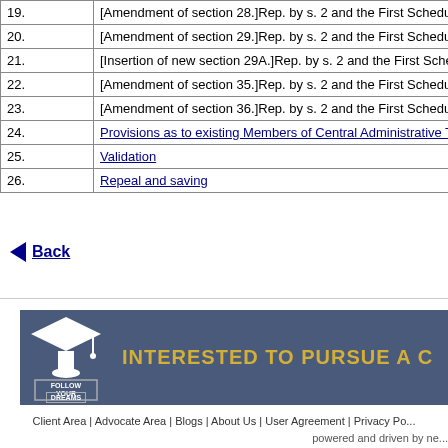| No. | Description |
| --- | --- |
| 19. | [Amendment of section 28.]Rep. by s. 2 and the First Schedule, ibid. (w... |
| 20. | [Amendment of section 29.]Rep. by s. 2 and the First Schedule, ibid. (w... |
| 21. | [Insertion of new section 29A.]Rep. by s. 2 and the First Schedule, ibid... |
| 22. | [Amendment of section 35.]Rep. by s. 2 and the First Schedule, ibid. (w... |
| 23. | [Amendment of section 36.]Rep. by s. 2 and the First Schedule, ibid. (w... |
| 24. | Provisions as to existing Members of Central Administrative Tribunal |
| 25. | Validation |
| 26. | Repeal and saving |
Back
[Figure (infographic): Banner with graduation cap icon, 'FOLLOW YOUR DREAMS' text, and 'INTERESTED TO PURSUE A C...' text on dark blue background]
Client Area | Advocate Area | Blogs | About Us | User Agreement | Privacy Po... powered and driven by ne...